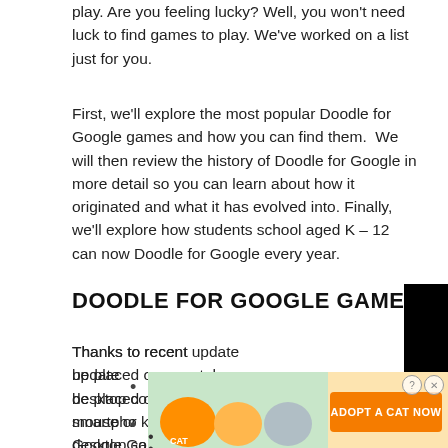play. Are you feeling lucky? Well, you won't need luck to find games to play. We've worked on a list just for you.
First, we'll explore the most popular Doodle for Google games and how you can find them.  We will then review the history of Doodle for Google in more detail so you can learn about how it originated and what it has evolved into. Finally, we'll explore how students school aged K – 12 can now Doodle for Google every year.
DOODLE FOR GOOGLE GAMES
Thanks to recent updates, be placed on smartphones, desktop computers and mouse or keyboards. Here Google Games (in alphab
[Figure (screenshot): Video player overlay with dark background showing 'THIS DAY IN HISTORY' text, a play button with blue parallelogram logos, 'AUGUST' text below, a green circle icon in top left, and a mute button in bottom left.]
[Figure (screenshot): Advertisement banner showing cat game characters and 'ADOPT A CAT NOW' text with an info and close button in top right corner.]